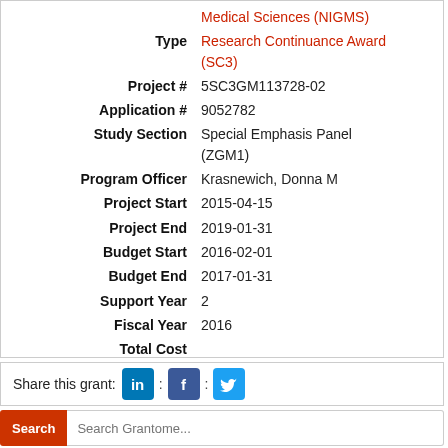| Field | Value |
| --- | --- |
|  | Medical Sciences (NIGMS) |
| Type | Research Continuance Award (SC3) |
| Project # | 5SC3GM113728-02 |
| Application # | 9052782 |
| Study Section | Special Emphasis Panel (ZGM1) |
| Program Officer | Krasnewich, Donna M |
| Project Start | 2015-04-15 |
| Project End | 2019-01-31 |
| Budget Start | 2016-02-01 |
| Budget End | 2017-01-31 |
| Support Year | 2 |
| Fiscal Year | 2016 |
| Total Cost |  |
| Indirect Cost |  |
Share this grant:
Search Grantome...